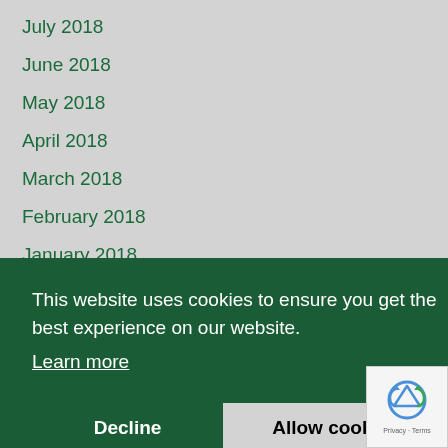July 2018
June 2018
May 2018
April 2018
March 2018
February 2018
January 2018
December 2017
November 2017
This website uses cookies to ensure you get the best experience on our website. Learn more
April 2017